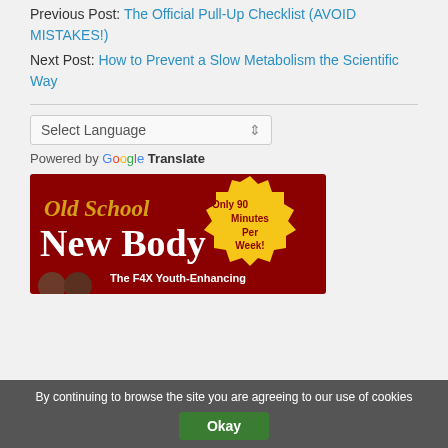Previous Post: The Official Pull-Up Checklist (AVOID MISTAKES!)
Next Post: How to Prevent a Slow Metabolism the Scientific Way
Select Language (dropdown)
Powered by Google Translate
[Figure (illustration): Old School New Body advertisement banner — dark red background with gold script text 'Old School New Body', white large text 'New Body', yellow starburst with text 'Only 90 Minutes Per Week!', and subtitle 'The F4X Youth-Enhancing'. Two people shown at bottom left.]
By continuing to browse the site you are agreeing to our use of cookies
Okay